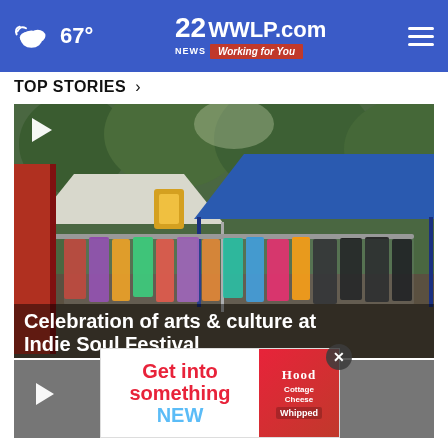67° | 22WWLP.com Working for You
TOP STORIES ›
[Figure (photo): Outdoor festival scene showing clothing racks with colorful garments hanging under blue and white canopy tents, with trees in background. Play button icon visible in top left corner.]
Celebration of arts & culture at Indie Soul Festival
[Figure (screenshot): Advertisement overlay: 'Get into something NEW' with Hood Cottage Cheese Whipped branding on the right side.]